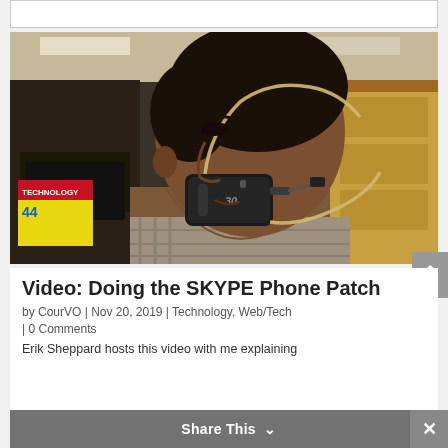[Figure (photo): Side profile of a man wearing a black Bluetooth headset/earpiece strapped around his jaw with a beige/tan elastic band. He is in an office environment. The background shows a cubicle setting with a yellow wall and a monitor. He is wearing a checkered shirt.]
Video: Doing the SKYPE Phone Patch
by CourVO | Nov 20, 2019 | Technology, Web/Tech
| 0 Comments
Erik Sheppard hosts this video with me explaining
Share This